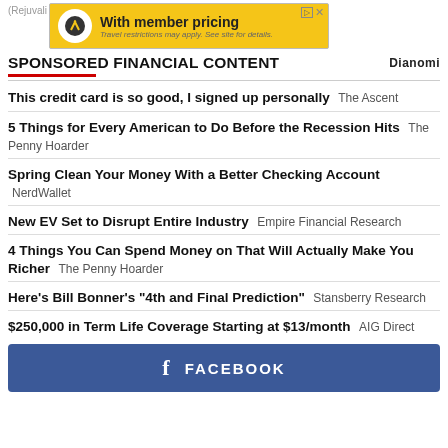[Figure (screenshot): Advertisement banner with yellow background showing a compass/navigation icon and text 'With member pricing. Travel restrictions may apply. See site for details.' with small AD and X icons in the corner.]
SPONSORED FINANCIAL CONTENT
This credit card is so good, I signed up personally  The Ascent
5 Things for Every American to Do Before the Recession Hits  The Penny Hoarder
Spring Clean Your Money With a Better Checking Account  NerdWallet
New EV Set to Disrupt Entire Industry  Empire Financial Research
4 Things You Can Spend Money on That Will Actually Make You Richer  The Penny Hoarder
Here’s Bill Bonner’s “4th and Final Prediction”  Stansberry Research
$250,000 in Term Life Coverage Starting at $13/month  AIG Direct
[Figure (screenshot): Facebook button in blue with the Facebook 'f' logo and text 'FACEBOOK']